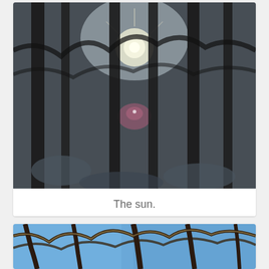[Figure (photo): A dark winter forest scene with bare trees covered in snow/ice. The sun shines brightly through the trees in the upper center, creating a lens flare with a pinkish circular artifact in the middle of the image.]
The sun.
[Figure (photo): A winter forest scene viewed from below looking up, showing bare ice-covered tree branches against a bright blue sky.]